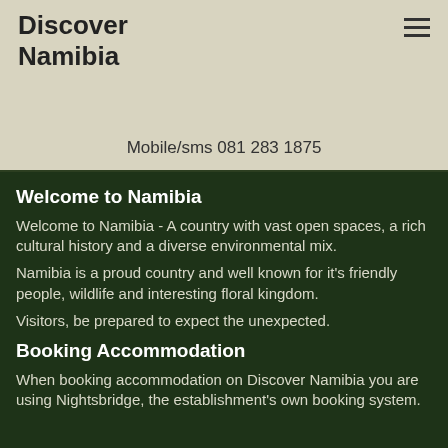Discover Namibia
Mobile/sms 081 283 1875
Welcome to Namibia
Welcome to Namibia - A country with vast open spaces, a rich cultural history and a diverse environmental mix.
Namibia is a proud country and well known for it's friendly people, wildlife and interesting floral kingdom.
Visitors, be prepared to expect the unexpected.
Booking Accommodation
When booking accommodation on Discover Namibia you are using Nightsbridge, the establishment's own booking system.